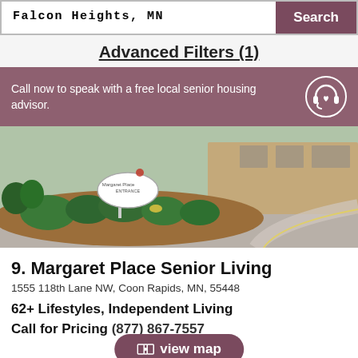Falcon Heights, MN  Search
Advanced Filters (1)
Call now to speak with a free local senior housing advisor.
[Figure (photo): Exterior photo of Margaret Place Senior Living entrance sign surrounded by landscaping and a driveway]
9. Margaret Place Senior Living
1555 118th Lane NW, Coon Rapids, MN, 55448
62+ Lifestyles, Independent Living
Call for Pricing (877) 867-7557
view map